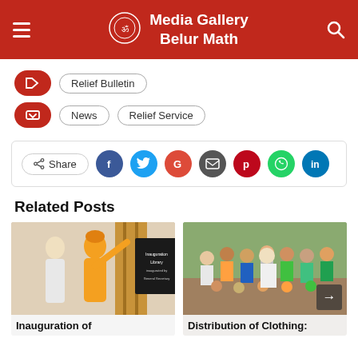Media Gallery Belur Math
Relief Bulletin
News · Relief Service
Share [Facebook, Twitter, Google, Email, Pinterest, WhatsApp, LinkedIn]
Related Posts
[Figure (photo): A monk in orange robe unveiling a plaque at a library inauguration, with another man in white standing beside him.]
Inauguration of
[Figure (photo): A group of people standing and sitting outdoors for a clothing distribution event.]
Distribution of Clothing: